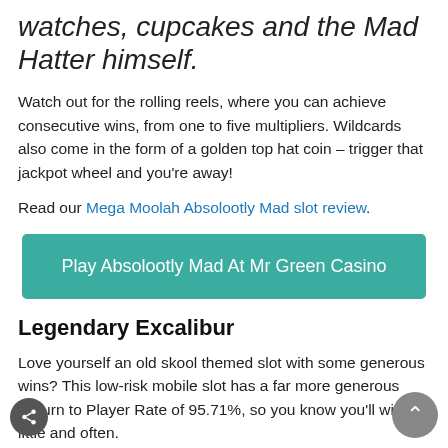watches, cupcakes and the Mad Hatter himself.
Watch out for the rolling reels, where you can achieve consecutive wins, from one to five multipliers. Wildcards also come in the form of a golden top hat coin – trigger that jackpot wheel and you're away!
Read our Mega Moolah Absolootly Mad slot review.
Play Absolootly Mad At Mr Green Casino
Legendary Excalibur
Love yourself an old skool themed slot with some generous wins? This low-risk mobile slot has a far more generous Return to Player Rate of 95.71%, so you know you'll win little and often.